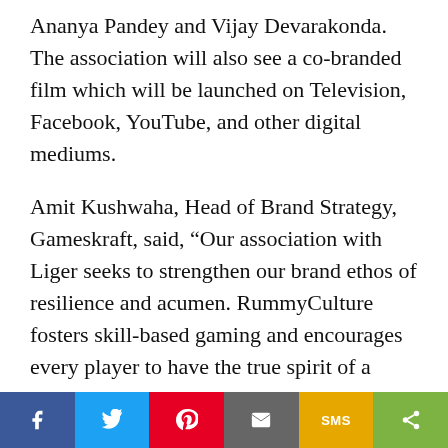Ananya Pandey and Vijay Devarakonda. The association will also see a co-branded film which will be launched on Television, Facebook, YouTube, and other digital mediums.
Amit Kushwaha, Head of Brand Strategy, Gameskraft, said, “Our association with Liger seeks to strengthen our brand ethos of resilience and acumen. RummyCulture fosters skill-based gaming and encourages every player to have the true spirit of a gamer. We have always believed that anybody can be a champion with the right focus, preparation, and mindset. Liger’s message resonates with our values, and we are very happy to partner with the movie and celebrate our rummy stars.”
Speaking on the occasion, Apoorva Mehta, CEO of Dharma Productions said, “Our film Liger revolves
[Figure (other): Social sharing bar with icons for Facebook, Twitter, Pinterest, Email, SMS, and Share]